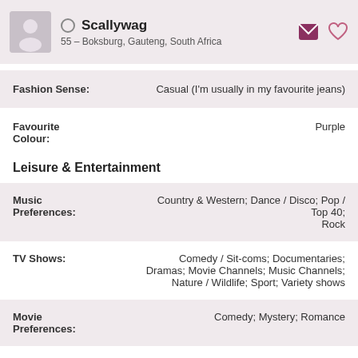Scallywag — 55 – Boksburg, Gauteng, South Africa
| Field | Value |
| --- | --- |
| Fashion Sense: | Casual (I'm usually in my favourite jeans) |
| Favourite Colour: | Purple |
Leisure & Entertainment
| Field | Value |
| --- | --- |
| Music Preferences: | Country & Western; Dance / Disco; Pop / Top 40; Rock |
| TV Shows: | Comedy / Sit-coms; Documentaries; Dramas; Movie Channels; Music Channels; Nature / Wildlife; Sport; Variety shows |
| Movie Preferences: | Comedy; Mystery; Romance |